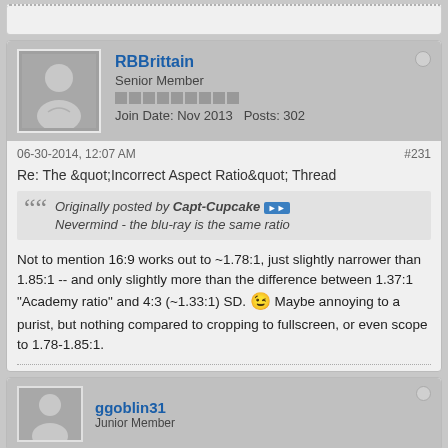(top stub — partial previous post)
RBBrittain — Senior Member — Join Date: Nov 2013  Posts: 302
06-30-2014, 12:07 AM   #231
Re: The "Incorrect Aspect Ratio" Thread
Originally posted by Capt-Cupcake  Nevermind - the blu-ray is the same ratio
Not to mention 16:9 works out to ~1.78:1, just slightly narrower than 1.85:1 -- and only slightly more than the difference between 1.37:1 "Academy ratio" and 4:3 (~1.33:1) SD. 😉 Maybe annoying to a purist, but nothing compared to cropping to fullscreen, or even scope to 1.78-1.85:1.
ggoblin31 — Junior Member